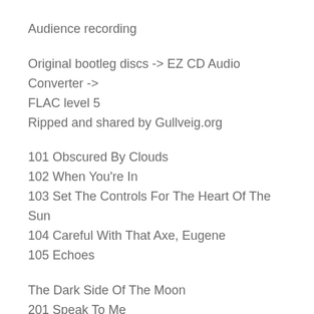Audience recording
Original bootleg discs -> EZ CD Audio Converter -> FLAC level 5
Ripped and shared by Gullveig.org
101 Obscured By Clouds
102 When You're In
103 Set The Controls For The Heart Of The Sun
104 Careful With That Axe, Eugene
105 Echoes
The Dark Side Of The Moon
201 Speak To Me
202 Breathe
203 On The Run
204 Time
205 Breathe (Reprise)